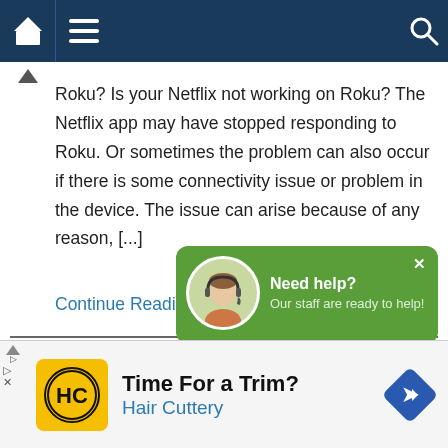Navigation bar with home, menu, and search icons
Roku? Is your Netflix not working on Roku? The Netflix app may have stopped responding to Roku. Or sometimes the problem can also occur if there is some connectivity issue or problem in the device. The issue can arise because of any reason, [...]
Continue Reading
How to Resolve the Netflix not Working
[Figure (screenshot): Chat help popup with agent avatar: 'Need help? Our staff are ready to help!']
[Figure (photo): Red image bar with partial text 'Tro' visible]
[Figure (infographic): Ad banner: Time For a Trim? Hair Cuttery with logo and navigation arrow icon]